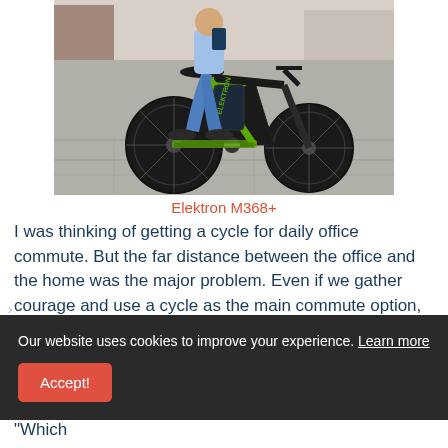[Figure (photo): Person sitting on a black and green Elektron electric bicycle on a paved outdoor area]
Elektron M368+
I was thinking of getting a cycle for daily office commute. But the far distance between the office and the home was the major problem. Even if we gather courage and use a cycle as the main commute option, It doesn't last long
Our website uses cookies to improve your experience. Learn more
Accept!
Once the decision was made, now the question was "Which